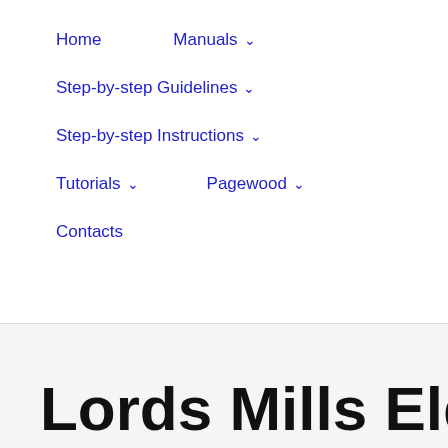Home   Manuals ▾
Step-by-step Guidelines ▾
Step-by-step Instructions ▾
Tutorials ▾   Pagewood ▾
Contacts
Lords Mills Elder